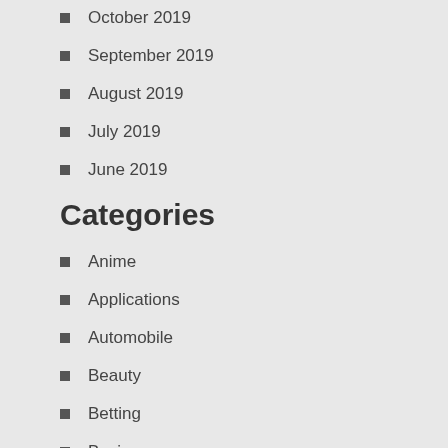October 2019
September 2019
August 2019
July 2019
June 2019
Categories
Anime
Applications
Automobile
Beauty
Betting
Business
Digital marketing
Education
Entertainment